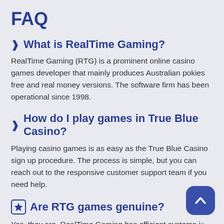FAQ
❯ What is RealTime Gaming?
RealTime Gaming (RTG) is a prominent online casino games developer that mainly produces Australian pokies free and real money versions. The software firm has been operational since 1998.
❯ How do I play games in True Blue Casino?
Playing casino games is as easy as the True Blue Casino sign up procedure. The process is simple, but you can reach out to the responsive customer support team if you need help.
★ Are RTG games genuine?
Yes, they are. RealTime Gaming has efficient systems in that ensure the safety of its download and instant play gaming